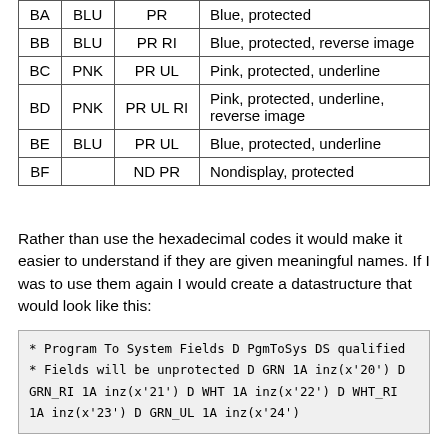|  |  |  |  |
| --- | --- | --- | --- |
| BA | BLU | PR | Blue, protected |
| BB | BLU | PR RI | Blue, protected, reverse image |
| BC | PNK | PR UL | Pink, protected, underline |
| BD | PNK | PR UL RI | Pink, protected, underline, reverse image |
| BE | BLU | PR UL | Blue, protected, underline |
| BF |  | ND PR | Nondisplay, protected |
Rather than use the hexadecimal codes it would make it easier to understand if they are given meaningful names. If I was to use them again I would create a datastructure that would look like this:
* Program To System Fields
D PgmToSys        DS              qualified
 * Fields will be unprotected
D  GRN                          1A    inz(x'20')
D  GRN_RI                       1A    inz(x'21')
D  WHT                          1A    inz(x'22')
D  WHT_RI                       1A    inz(x'23')
D  GRN_UL                       1A    inz(x'24')